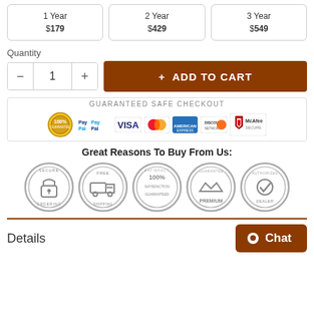| 1 Year | 2 Year | 3 Year |
| --- | --- | --- |
| $179 | $429 | $549 |
Quantity
– 1 + ADD TO CART
[Figure (infographic): GUARANTEED SAFE CHECKOUT banner with PayPal, Visa, Mastercard, American Express, Discover, and McAfee Secure logos]
Great Reasons To Buy From Us:
[Figure (infographic): Five trust badge icons: Secure Ordering, Free Shipping, 100% Satisfaction Guaranteed, Premium, Authorized Dealer]
Details
Chat